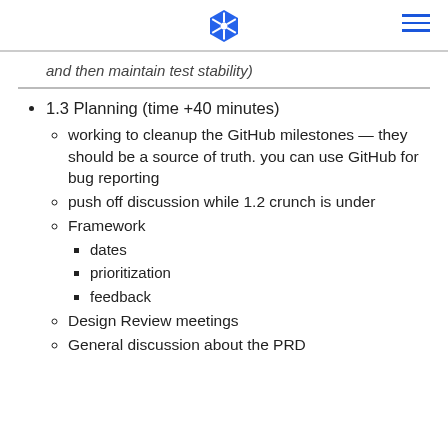[Kubernetes logo] [hamburger menu]
and then maintain test stability)
1.3 Planning (time +40 minutes)
working to cleanup the GitHub milestones — they should be a source of truth. you can use GitHub for bug reporting
push off discussion while 1.2 crunch is under
Framework
dates
prioritization
feedback
Design Review meetings
General discussion about the PRD